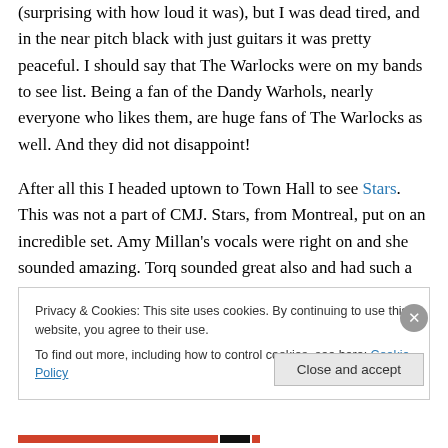(surprising with how loud it was), but I was dead tired, and in the near pitch black with just guitars it was pretty peaceful. I should say that The Warlocks were on my bands to see list. Being a fan of the Dandy Warhols, nearly everyone who likes them, are huge fans of The Warlocks as well. And they did not disappoint!
After all this I headed uptown to Town Hall to see Stars. This was not a part of CMJ. Stars, from Montreal, put on an incredible set. Amy Millan's vocals were right on and she sounded amazing. Torq sounded great also and had such a bubbly personality. They played a set consisting of
Privacy & Cookies: This site uses cookies. By continuing to use this website, you agree to their use.
To find out more, including how to control cookies, see here: Cookie Policy